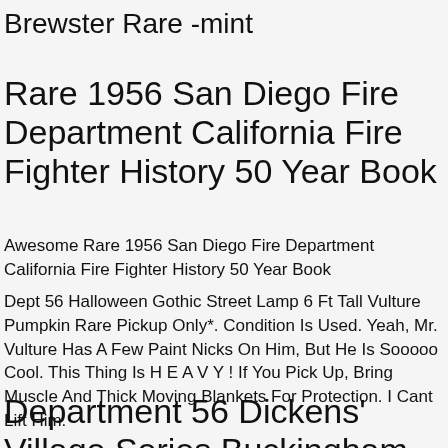Brewster Rare -mint
Rare 1956 San Diego Fire Department California Fire Fighter History 50 Year Book
Awesome Rare 1956 San Diego Fire Department California Fire Fighter History 50 Year Book
Dept 56 Halloween Gothic Street Lamp 6 Ft Tall Vulture Pumpkin Rare Pickup Only*. Condition Is Used. Yeah, Mr. Vulture Has A Few Paint Nicks On Him, But He Is Sooooo Cool. This Thing Is H E A V Y ! If You Pick Up, Bring Muscle And Thick Moving Blankets For Protection. I Cant Lift Him.
Department 56 Dickens' Village Series Buckingham Palace 1 Of